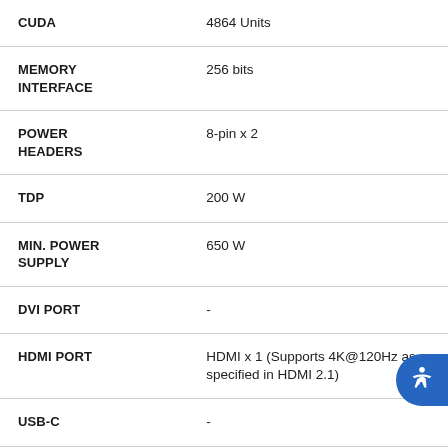| Specification | Value |
| --- | --- |
| CUDA | 4864 Units |
| MEMORY INTERFACE | 256 bits |
| POWER HEADERS | 8-pin x 2 |
| TDP | 200 W |
| MIN. POWER SUPPLY | 650 W |
| DVI PORT | - |
| HDMI PORT | HDMI x 1 (Supports 4K@120Hz as specified in HDMI 2.1) |
| USB-C | - |
| DISPLAYPORT | DisplayPort x 3 (v1.4a) |